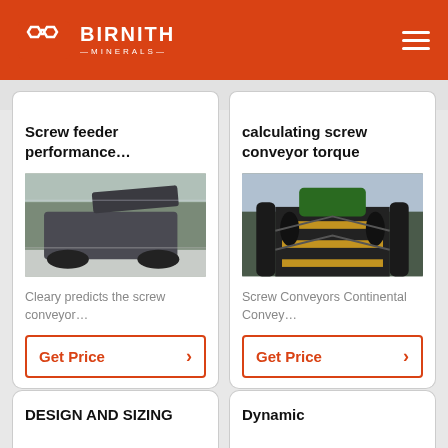BIRNITH MINERALS
Screw feeder performance…
[Figure (photo): Industrial screw feeder machinery inside a warehouse]
Cleary predicts the screw conveyor…
Get Price
calculating screw conveyor torque
[Figure (photo): Close-up view of a screw conveyor belt system with green machinery]
Screw Conveyors Continental Convey…
Get Price
DESIGN AND SIZING
Dynamic